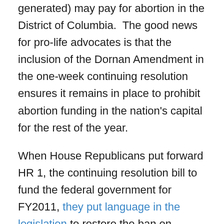generated) may pay for abortion in the District of Columbia.  The good news for pro-life advocates is that the inclusion of the Dornan Amendment in the one-week continuing resolution ensures it remains in place to prohibit abortion funding in the nation's capital for the rest of the year.
When House Republicans put forward HR 1, the continuing resolution bill to fund the federal government for FY2011, they put language in the legislation to restore the ban on taxpayer funding of abortions in the District of Columbia that Obama and House Democrats overturned when they controlled the chamber. Since the defeat of HR 1, pro-life organizations have clamored for a restoration of the